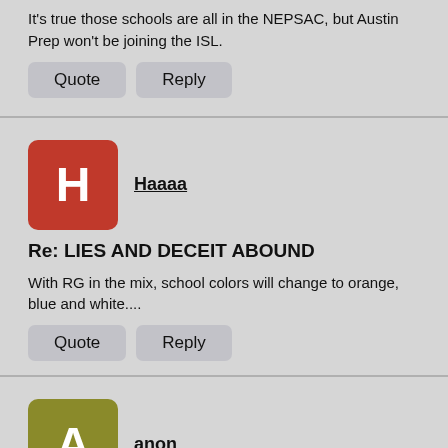It's true those schools are all in the NEPSAC, but Austin Prep won't be joining the ISL.
Quote   Reply
Haaaa
Re: LIES AND DECEIT ABOUND
With RG in the mix, school colors will change to orange, blue and white....
Quote   Reply
anon